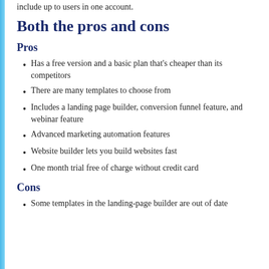include up to users in one account.
Both the pros and cons
Pros
Has a free version and a basic plan that's cheaper than its competitors
There are many templates to choose from
Includes a landing page builder, conversion funnel feature, and webinar feature
Advanced marketing automation features
Website builder lets you build websites fast
One month trial free of charge without credit card
Cons
Some templates in the landing-page builder are out of date